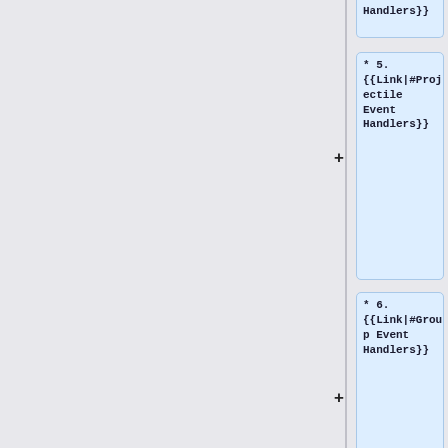* Handlers}}
* 5. {{Link|#Projectile Event Handlers}}
* 6. {{Link|#Group Event Handlers}}
* 7. {{Link|#Player's UI Event Handlers}}
* 8. {{Link|#UI Event Handlers (Displays